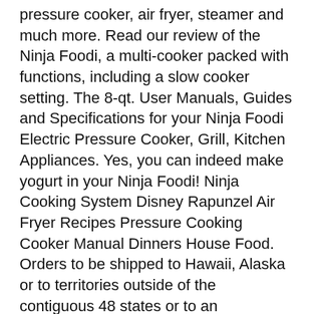pressure cooker, air fryer, steamer and much more. Read our review of the Ninja Foodi, a multi-cooker packed with functions, including a slow cooker setting. The 8-qt. User Manuals, Guides and Specifications for your Ninja Foodi Electric Pressure Cooker, Grill, Kitchen Appliances. Yes, you can indeed make yogurt in your Ninja Foodi! Ninja Cooking System Disney Rapunzel Air Fryer Recipes Pressure Cooking Cooker Manual Dinners House Food. Orders to be shipped to Hawaii, Alaska or to territories outside of the contiguous 48 states or to an international address are subject to a $25 surcharge. Promo code discount:-[[cart.totals.rebate | currency : cart.currency.symbol]], Total: [[cart.totals.discountedSubtotal | currency : cart.currency.symbol]]Excluding shipping & taxes, Your cart is being updated...[[cart.populated]], -[[cart.totals.rebate | currency : cart.currency.symbol]], FD402, Accessibility Here are some [...] Ninja just